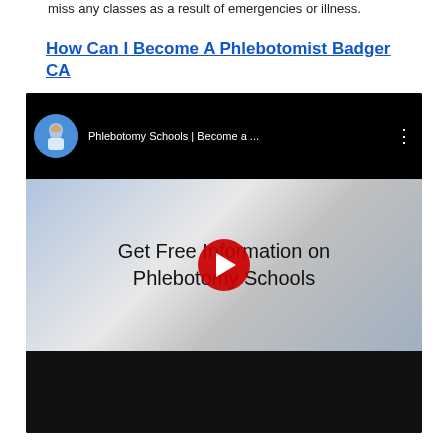miss any classes as a result of emergencies or illness.
How Can I Become A Phlebotomist Badger CA
[Figure (screenshot): YouTube video embed showing 'Phlebotomy Schools | Become a ...' with title overlay 'Get Free Information on Phlebotomy Schools' and a play button over a thumbnail of a blood draw procedure.]